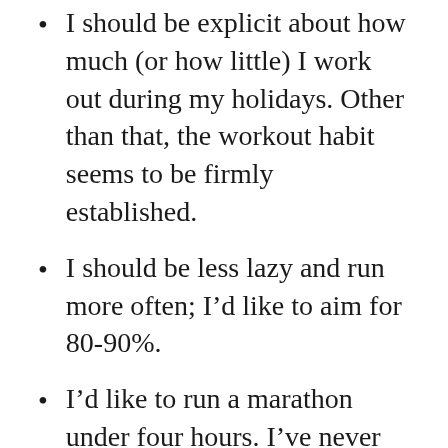I should be explicit about how much (or how little) I work out during my holidays. Other than that, the workout habit seems to be firmly established.
I should be less lazy and run more often; I’d like to aim for 80-90%.
I’d like to run a marathon under four hours. I’ve never run a marathon yet.
In terms of fat loss, this year there was great progress towards my goal of reaching 10% body fat. In terms of net